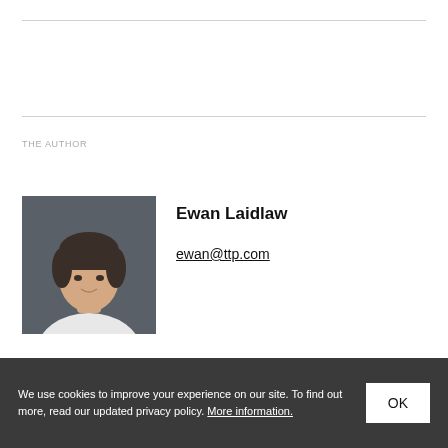THE AUTHOR
[Figure (photo): Headshot of Ewan Laidlaw, a young man with dark hair wearing a white shirt, against a dark grey background.]
Ewan Laidlaw
ewan@ttp.com
We use cookies to improve your experience on our site. To find out more, read our updated privacy policy. More information.